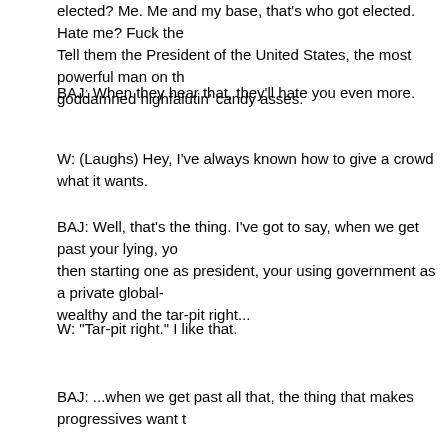elected? Me. Me and my base, that's who got elected. Hate me? Fuck the Tell them the President of the United States, the most powerful man on th goddamned highfalutin' candy asses.
BAJ: When they hear that, they'll hate you even more.
W: (Laughs) Hey, I've always known how to give a crowd what it wants.
BAJ: Well, that's the thing. I've got to say, when we get past your lying, yo then starting one as president, your using government as a private global- wealthy and the tar-pit right...
W: "Tar-pit right." I like that.
BAJ: ...when we get past all that, the thing that makes progressives want t chipper is your 'tude. I mean, you're mean. You really are. You're unkind, a it shows. Whenever you try to act soft and caring, you look completely pho there on the dais smirking at parents whose kids have died in Iraq. But wh when you shine. When you're trashing people and telling raging lies, you g
W: Well, look. In all seriousness. All right? In all seriousness, I've just neve who basically doesn't give a shit about consequences. Because I don't ha I was growing up I didn't have to figure out how to be a nice boy, how to g